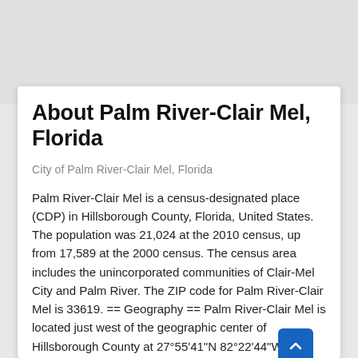About Palm River-Clair Mel, Florida
City of Palm River-Clair Mel, Florida
Palm River-Clair Mel is a census-designated place (CDP) in Hillsborough County, Florida, United States. The population was 21,024 at the 2010 census, up from 17,589 at the 2000 census. The census area includes the unincorporated communities of Clair-Mel City and Palm River. The ZIP code for Palm River-Clair Mel is 33619. == Geography == Palm River-Clair Mel is located just west of the geographic center of Hillsborough County at 27°55'41"N 82°22'44"W (27.928150, -82.378900), or approximately 6 miles (10 km) southeast of downtown